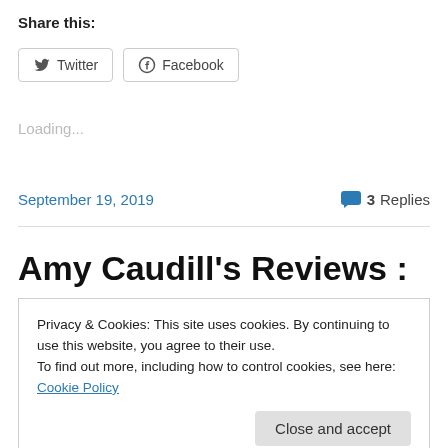Share this:
[Figure (other): Twitter and Facebook share buttons]
Loading...
September 19, 2019   💬 3 Replies
Amy Caudill's Reviews :
Privacy & Cookies: This site uses cookies. By continuing to use this website, you agree to their use.
To find out more, including how to control cookies, see here: Cookie Policy
Close and accept